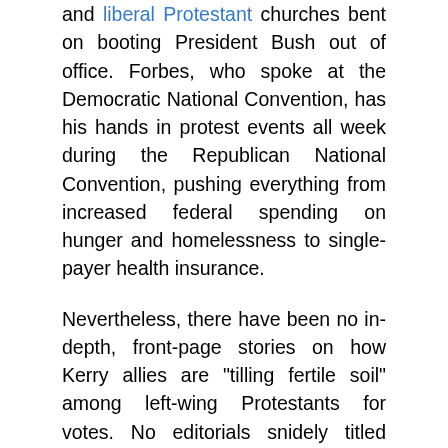and liberal Protestant churches bent on booting President Bush out of office. Forbes, who spoke at the Democratic National Convention, has his hands in protest events all week during the Republican National Convention, pushing everything from increased federal spending on hunger and homelessness to single-payer health insurance.
Nevertheless, there have been no in-depth, front-page stories on how Kerry allies are "tilling fertile soil" among left-wing Protestants for votes. No editorials snidely titled "Onward Democrat Soldiers." And no conspiratorial flow charts suggesting coordination between Rev. Forbes, the Clintons (Hillary attended the service after attacking Bush on the Sunday morning talk show circuit) and the Kerry campaign.
The New York Times' sanctimonious reporters and editorialists loudly declaim the mixture of religion and